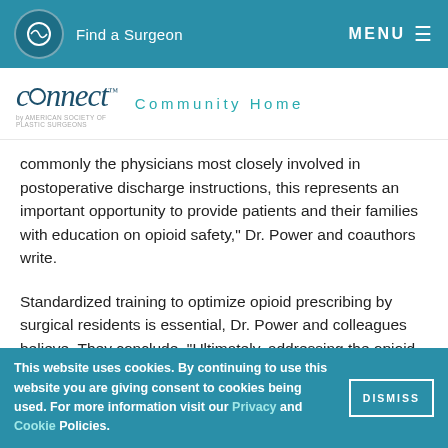Find a Surgeon  MENU
connect™  Community Home
commonly the physicians most closely involved in postoperative discharge instructions, this represents an important opportunity to provide patients and their families with education on opioid safety," Dr. Power and coauthors write.
Standardized training to optimize opioid prescribing by surgical residents is essential, Dr. Power and colleagues believe. They conclude, "Ultimately, addressing the opioid epidemic in plastic surgery requires a multifaceted approach, of which trainee education is one component."
This website uses cookies. By continuing to use this website you are giving consent to cookies being used. For more information visit our Privacy and Cookie Policies. DISMISS